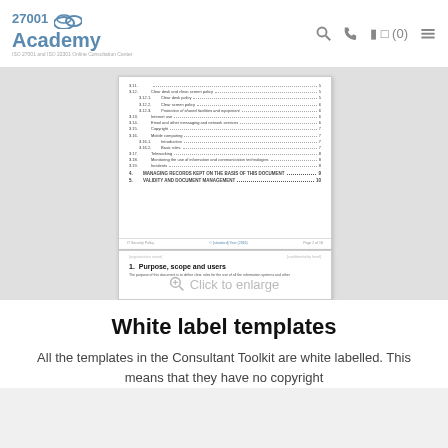27001 Academy — ISO 27001 and ISO 22301 Online Consultation Center
[Figure (screenshot): Document preview showing two document pages: a table of contents page and a page beginning with 'Purpose, scope and users'. The first page shows TOC entries including sections 3.11 through 3.19, sections 4 and 5. The second page shows organization name header and section 1 title.]
Click to enlarge
White label templates
All the templates in the Consultant Toolkit are white labelled. This means that they have no copyright